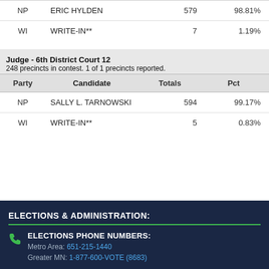| Party | Candidate | Totals | Pct |
| --- | --- | --- | --- |
| NP | ERIC HYLDEN | 579 | 98.81% |
| WI | WRITE-IN** | 7 | 1.19% |
Judge - 6th District Court 12
248 precincts in contest. 1 of 1 precincts reported.
| Party | Candidate | Totals | Pct |
| --- | --- | --- | --- |
| NP | SALLY L. TARNOWSKI | 594 | 99.17% |
| WI | WRITE-IN** | 5 | 0.83% |
ELECTIONS & ADMINISTRATION:
ELECTIONS PHONE NUMBERS:
Metro Area: 651-215-1440
Greater MN: 1-877-600-VOTE (8683)